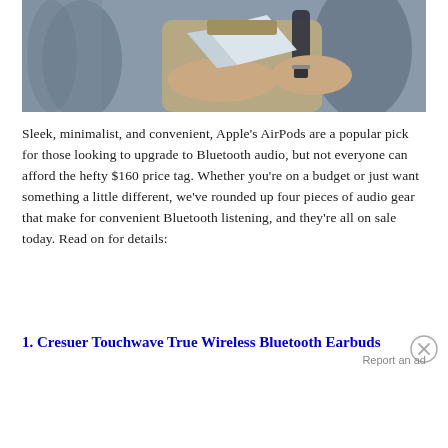[Figure (photo): A man in a khaki shirt and backpack looking at a document or booklet, with people blurred in the background]
Sleek, minimalist, and convenient, Apple's AirPods are a popular pick for those looking to upgrade to Bluetooth audio, but not everyone can afford the hefty $160 price tag. Whether you're on a budget or just want something a little different, we've rounded up four pieces of audio gear that make for convenient Bluetooth listening, and they're all on sale today. Read on for details:
1. Cresuer Touchwave True Wireless Bluetooth Earbuds
Report an ad